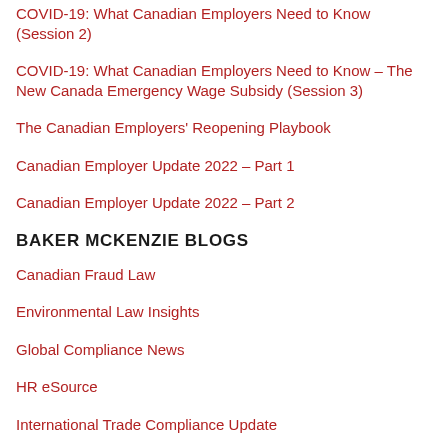COVID-19: What Canadian Employers Need to Know (Session 2)
COVID-19: What Canadian Employers Need to Know – The New Canada Emergency Wage Subsidy (Session 3)
The Canadian Employers' Reopening Playbook
Canadian Employer Update 2022 – Part 1
Canadian Employer Update 2022 – Part 2
BAKER MCKENZIE BLOGS
Canadian Fraud Law
Environmental Law Insights
Global Compliance News
HR eSource
International Trade Compliance Update